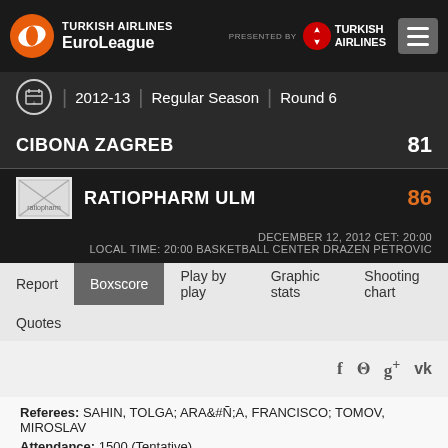[Figure (logo): Turkish Airlines EuroLeague header bar with logo, presented by Turkish Airlines, and hamburger menu]
2012-13 | Regular Season | Round 6
CIBONA ZAGREB 81
[Figure (logo): Ratiopharm Ulm team logo]
RATIOPHARM ULM 86
DECEMBER 12, 2012 CET: 20:00
LOCAL TIME: 20:00 BASKETBALL CENTER DRAZEN PETROVIC
Report | Boxscore | Play by play | Graphic stats | Shooting chart
Quotes
f  twitter  g+  vk
Referees: SAHIN, TOLGA; ARAÑA, FRANCISCO; TOMOV, MIROSLAV
Attendance: 1500 (Tentative)
| By Quarter | 1 | 2 | 3 | 4 |
| --- | --- | --- | --- | --- |